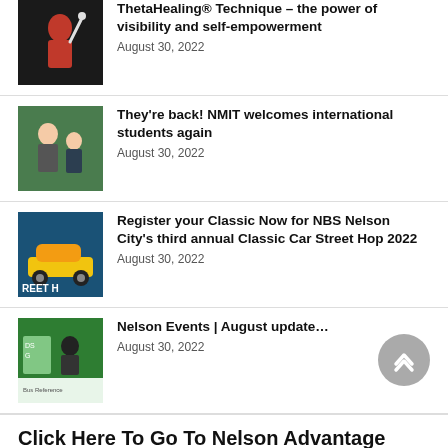ThetaHealing® Technique – the power of visibility and self-empowerment
August 30, 2022
They're back! NMIT welcomes international students again
August 30, 2022
Register your Classic Now for NBS Nelson City's third annual Classic Car Street Hop 2022
August 30, 2022
Nelson Events | August update…
August 30, 2022
[Figure (other): Scroll to top button (chevron up icon on grey circle)]
Click Here To Go To Nelson Advantage Homepage